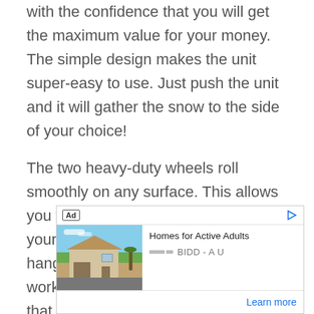with the confidence that you will get the maximum value for your money. The simple design makes the unit super-easy to use. Just push the unit and it will gather the snow to the side of your choice!
The two heavy-duty wheels roll smoothly on any surface. This allows you to move the unit easily around your yard. When not in use, the unit hangs on the wall of your garage or workshop- you don't have to worry that it will take floor space!
[Figure (other): Advertisement banner: 'Homes for Active Adults' by BIDD - AU with a photo of a house and a 'Learn more' link]